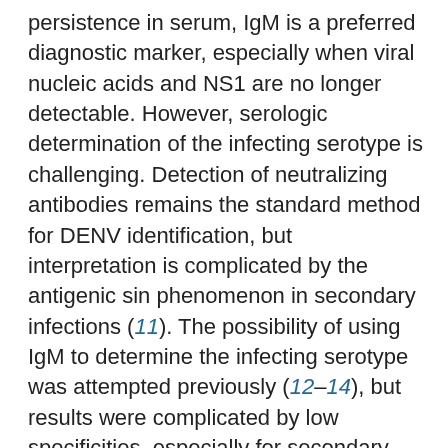persistence in serum, IgM is a preferred diagnostic marker, especially when viral nucleic acids and NS1 are no longer detectable. However, serologic determination of the infecting serotype is challenging. Detection of neutralizing antibodies remains the standard method for DENV identification, but interpretation is complicated by the antigenic sin phenomenon in secondary infections (11). The possibility of using IgM to determine the infecting serotype was attempted previously (12–14), but results were complicated by low specificities, especially for secondary DENV infections. In this study, we analyzed the serotype-specific IgM responses to DENV infections in returning travelers and residents in DENV-endemic regions using recombinant mutated envelope proteins with reduced cross-reactivity (9,10). The ELISA was able to specifically detect the infecting DENV serotype in